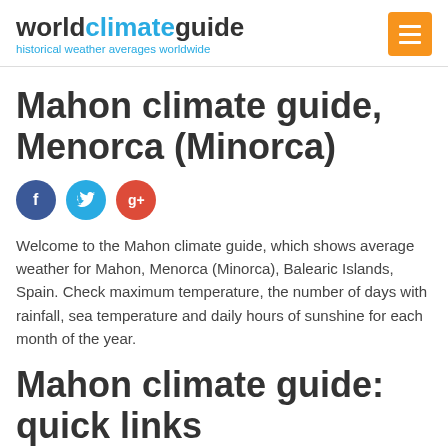worldclimateguide – historical weather averages worldwide
Mahon climate guide, Menorca (Minorca)
[Figure (illustration): Social media icons: Facebook (blue circle with 'f'), Twitter (light blue circle with bird), Google+ (red circle with 'g+')]
Welcome to the Mahon climate guide, which shows average weather for Mahon, Menorca (Minorca), Balearic Islands, Spain. Check maximum temperature, the number of days with rainfall, sea temperature and daily hours of sunshine for each month of the year.
Mahon climate guide: quick links